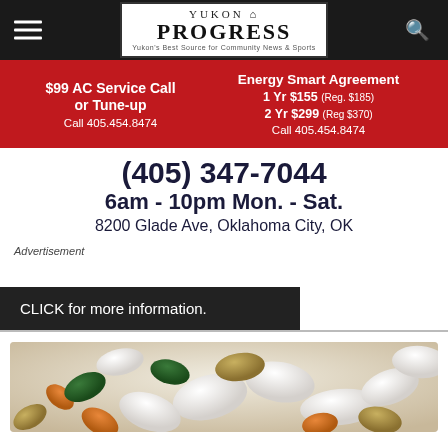Yukon Progress
[Figure (infographic): Red advertisement banner: $99 AC Service Call or Tune-up Call 405.454.8474 | Energy Smart Agreement 1 Yr $155 (Reg. $185) 2 Yr $299 (Reg $370) Call 405.454.8474]
(405) 347-7044
6am - 10pm Mon. - Sat.
8200 Glade Ave, Oklahoma City, OK
Advertisement
CLICK for more information.
[Figure (photo): Close-up photo of assorted pills and capsules in various colors including white, orange, green, and tan]